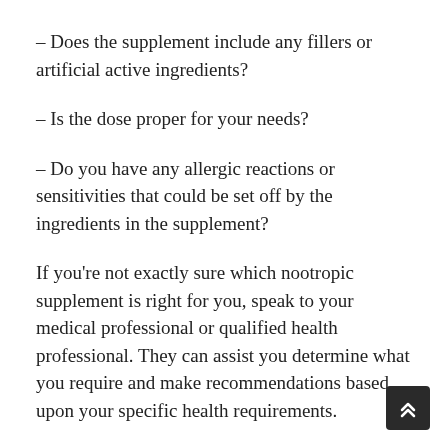– Does the supplement include any fillers or artificial active ingredients?
– Is the dose proper for your needs?
– Do you have any allergic reactions or sensitivities that could be set off by the ingredients in the supplement?
If you're not exactly sure which nootropic supplement is right for you, speak to your medical professional or qualified health professional. They can assist you determine what you require and make recommendations based upon your specific health requirements.
Nootropic supplements can offer a range of advantages, from enhanced cognitive function to increased energy levels. When picking a